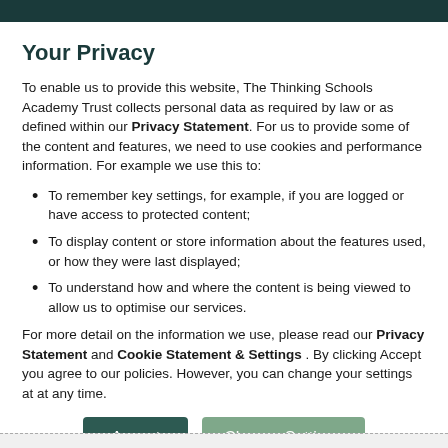Your Privacy
To enable us to provide this website, The Thinking Schools Academy Trust collects personal data as required by law or as defined within our Privacy Statement. For us to provide some of the content and features, we need to use cookies and performance information. For example we use this to:
To remember key settings, for example, if you are logged or have access to protected content;
To display content or store information about the features used, or how they were last displayed;
To understand how and where the content is being viewed to allow us to optimise our services.
For more detail on the information we use, please read our Privacy Statement and Cookie Statement & Settings . By clicking Accept you agree to our policies. However, you can change your settings at at any time.